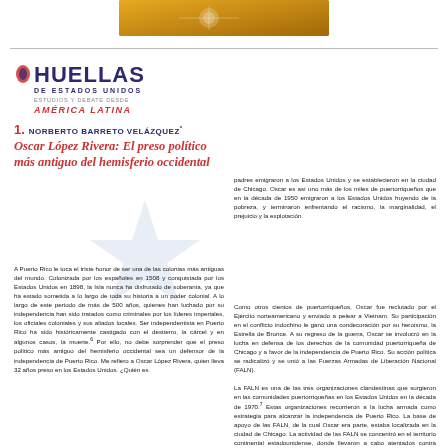[Figure (logo): Top orange/brown decorative banner with circular element]
[Figure (logo): HUELLAS DE ESTADOS UNIDOS journal logo with América Latina subtitle]
1. Norberto Barreto Velázquez*
Oscar López Rivera: El preso político más antiguo del hemisferio occidental
A Puerto Rico le toca el triste honor de ser una de las colonias más antiguas del mundo. Colonizada por los españoles en 1508 y conquistada por los Estados Unidos en 1898, la Isla nunca ha disfrutado de soberanía, ya que ha estado sometida a lo largo de toda su historia a un poder colonial. A lo largo de este periodo de más de 500 años, quienes han luchado por su independencia han sido tratados como criminales por los líderes imperiales, los oficiales coloniales y sus aliados locales. Ser independentista en Puerto Rico ha sido históricamente castigado con el destierro, la cárcel y en algunos casos, la muerte.6 Por ello, no debe sorprender que el preso político más antiguo del hemisferio occidental sea un defensor de la independencia de Puerto Rico. Me refiero a Oscar López Rivera, quien lleva 32 años preso en los Estados Unidos. ¿Quién es
padres emigraron a los Estados Unidos y se establecieron en la ciudad de Chicago. Oscar es así uno más de los miles de puertorriqueños que en la década de 1950 emigraron a los Estados Unidos huyendo de la pobreza, y terminaron enfrentando el racismo, la marginalidad, el prejuicio y la explotación.
Como otros cientos de puertorriqueños, Oscar fue reclutado por el Ejército norteamericano y enviado a pelear a Vietnam. Su participación en el conflicto indochino le ganó una condecoración por su heroísmo, la Estrella de Bronce. A su regreso de la guerra, Oscar se involucró en la lucha en defensa de los derechos de la comunidad puertorriqueña de Chicago y a favor de la independencia de Puerto Rico. Su acción política se radicalizó y se unió a las Fuerzas Armadas de Liberación Nacional (FALN).
La FALN es una de las tres organizaciones clandestinas que surgieron en las comunidades puertorriqueñas en los Estados Unidos en la década de 1970.7 Estas organizaciones recurrieron a la lucha armada como estrategia para alcanzar la independencia de Puerto Rico. La base de apoyo de las FALN, de la cual Oscar era parte, estaba localizada en la ciudad de Chicago. La actividad de las FALN se concentró en el territorio continental estadounidense, donde llevaron a cabo atentados contra bancos, oficinas de reclutamiento militar e